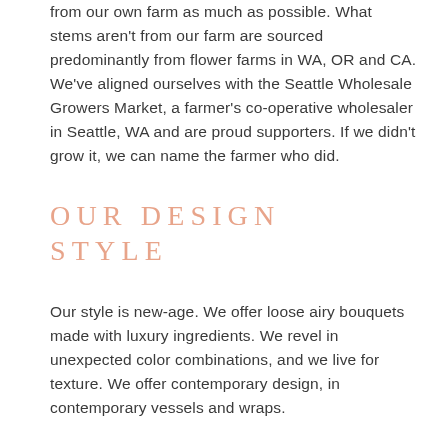from our own farm as much as possible. What stems aren't from our farm are sourced predominantly from flower farms in WA, OR and CA. We've aligned ourselves with the Seattle Wholesale Growers Market, a farmer's co-operative wholesaler in Seattle, WA and are proud supporters. If we didn't grow it, we can name the farmer who did.
OUR DESIGN STYLE
Our style is new-age. We offer loose airy bouquets made with luxury ingredients. We revel in unexpected color combinations, and we live for texture. We offer contemporary design, in contemporary vessels and wraps.